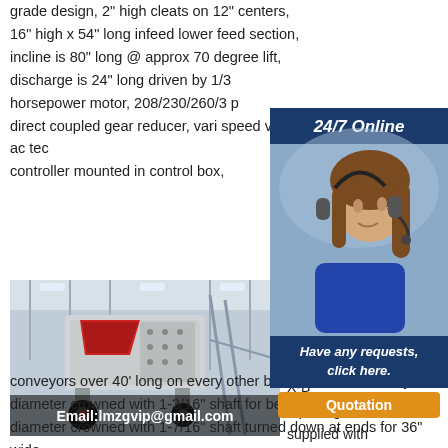grade design, 2" high cleats on 12" centers, 16" high x 54" long infeed lower feed section, incline is 80" long @ approx 70 degree lift, discharge is 24" long driven by 1/3 horsepower motor, 208/230/260/3 p... direct coupled gear reducer, vari speed via ac tec... controller mounted in control box,
[Figure (photo): 24/7 Online banner with customer service representative wearing headset and blue uniform]
[Figure (photo): Industrial impact crusher / mining machine in a factory setting with Email:lmzgvip@gmail.com overlay]
Incl... Belt... Hea... Co... X-B... squaring device supplied with conveyors over 40' long on every other bed section. Tail Pulley: 4" diameter crowned with 1-3/16" shaft for belt widths to 30", 6" diameter crowned with 1-7/16" shaft turned down at ends for 36" wide.